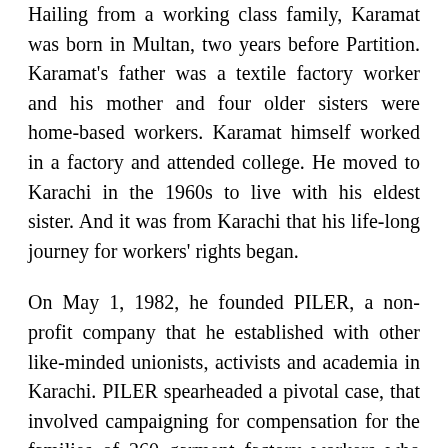Hailing from a working class family, Karamat was born in Multan, two years before Partition. Karamat's father was a textile factory worker and his mother and four older sisters were home-based workers. Karamat himself worked in a factory and attended college. He moved to Karachi in the 1960s to live with his eldest sister. And it was from Karachi that his life-long journey for workers' rights began.
On May 1, 1982, he founded PILER, a non-profit company that he established with other like-minded unionists, activists and academia in Karachi. PILER spearheaded a pivotal case, that involved campaigning for compensation for the families of 260 garment factory workers who were killed in the horrific 2012 Baldia factory fire, from the German company that bought 90 per cent of the factory's production.
As a committed human rights and peace activist,